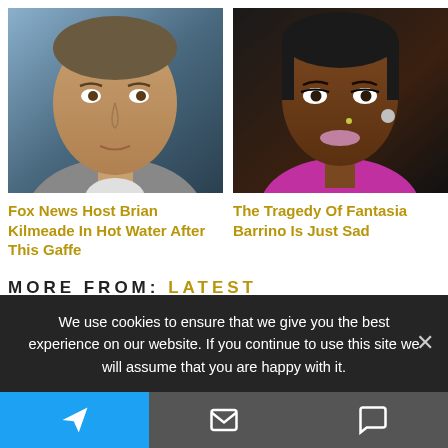[Figure (photo): Photo of Fox News host Brian Kilmeade, a white middle-aged man in a suit, serious expression, blue background]
Fox News Host Brian Kilmeade In Hot Water After This Gaffe
[Figure (photo): Photo of Fantasia Barrino, a Black woman with short hair, wearing pink earrings and a pink necklace, dark background]
The Tragedy Of Fantasia Barrino Is Just Sad
MORE FROM: LATEST
We use cookies to ensure that we give you the best experience on our website. If you continue to use this site we will assume that you are happy with it.